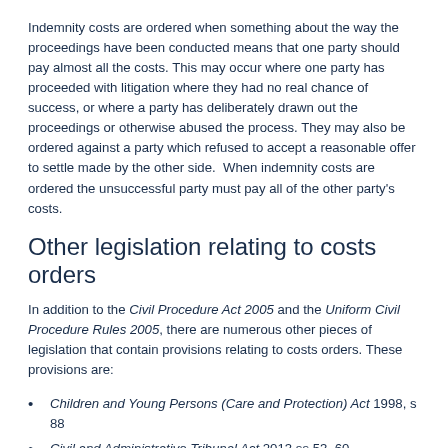Indemnity costs are ordered when something about the way the proceedings have been conducted means that one party should pay almost all the costs. This may occur where one party has proceeded with litigation where they had no real chance of success, or where a party has deliberately drawn out the proceedings or otherwise abused the process. They may also be ordered against a party which refused to accept a reasonable offer to settle made by the other side. When indemnity costs are ordered the unsuccessful party must pay all of the other party's costs.
Other legislation relating to costs orders
In addition to the Civil Procedure Act 2005 and the Uniform Civil Procedure Rules 2005, there are numerous other pieces of legislation that contain provisions relating to costs orders. These provisions are:
Children and Young Persons (Care and Protection) Act 1998, s 88
Civil and Administrative Tribunal Act 2013 ss 53, 60
Defamation Act 2005 (NSW) s 40
Family Law Act 1975 (Cth) s 117(2)